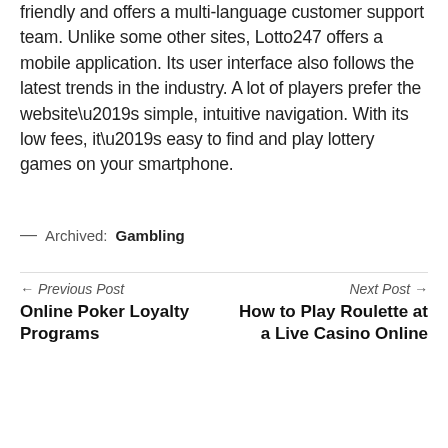friendly and offers a multi-language customer support team. Unlike some other sites, Lotto247 offers a mobile application. Its user interface also follows the latest trends in the industry. A lot of players prefer the website’s simple, intuitive navigation. With its low fees, it’s easy to find and play lottery games on your smartphone.
— Archived: Gambling
← Previous Post
Online Poker Loyalty Programs
Next Post →
How to Play Roulette at a Live Casino Online